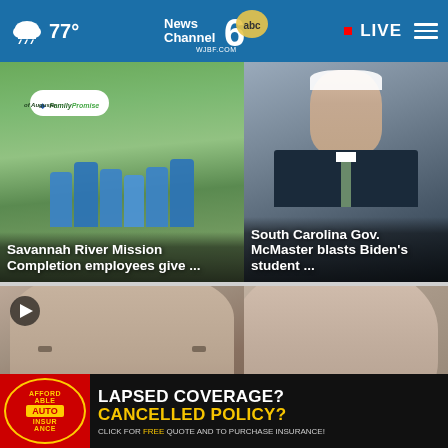77° | News Channel 6 WJBF.COM abc | LIVE
[Figure (photo): Group of people in blue t-shirts in front of Family Promise of Augusta sign]
Savannah River Mission Completion employees give ...
[Figure (photo): South Carolina Governor McMaster speaking at podium]
South Carolina Gov. McMaster blasts Biden's student ...
[Figure (photo): Elderly male face close-up with video play button]
[Figure (photo): Partial face close-up with close button]
[Figure (other): Affordable Auto Insurance advertisement banner: LAPSED COVERAGE? CANCELLED POLICY? CLICK FOR FREE QUOTE AND TO PURCHASE INSURANCE!]